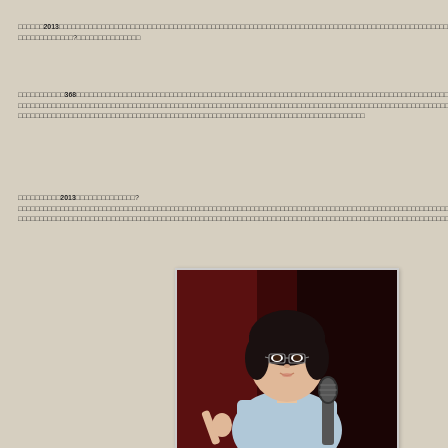□□□□□□2013□□□□□□□□□□□□□□□□□□□□□□□□□□□□□□□□□□□□□□□□□□□□□□□□□□□□□□□□□□□□□□□□□□□□□□□□□□□□□□□?□□□□□□□□□□□□□□□
□□□□□□□□□□□368□□□□□□□□□□□□□□□□□□□□□□□□□□□□□□□□□□□□□□□□□□□□□□□□□□□□□□□□□□□□□□□□□□□□□□□□□□□□□□□□□□□□□□□□□□□□□□□□□□□□□□□□□□□□□□□□□□□□□□□□□□□□□□□□□□□□□□□□□□□□□□□□□□□□□□□□□□□□□□□□□□
□□□□□□□□□□2013□□□□□□□□□□□□□□?  □□□□□□□□□□□□□□□□□□□□□□□□□□□□□□□□□□□□□□□□□□□□□□□□□□□□□□□□□□□□□□□□□□□□□□□□□□□□□□□□□□□□□□□□□□□□□□□□□□□□□□□□□□□
[Figure (photo): A woman with short dark hair and glasses, wearing a light blue shirt, holding a microphone and pointing with her index finger, speaking at an event. Dark red background.]